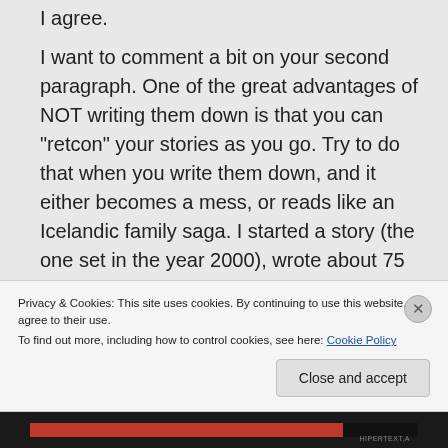I agree.
I want to comment a bit on your second paragraph. One of the great advantages of NOT writing them down is that you can "retcon" your stories as you go. Try to do that when you write them down, and it either becomes a mess, or reads like an Icelandic family saga. I started a story (the one set in the year 2000), wrote about 75 pages, then wrote 30 pages of back story. I
Privacy & Cookies: This site uses cookies. By continuing to use this website, you agree to their use.
To find out more, including how to control cookies, see here: Cookie Policy